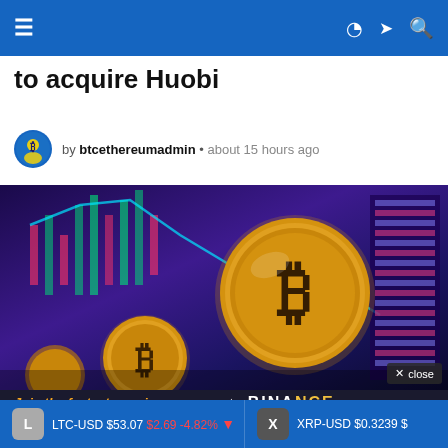Navigation bar with hamburger menu and icons
to acquire Huobi
by btcethereumadmin • about 15 hours ago
[Figure (photo): Bitcoin gold coins with trading chart candlestick background in purple/blue tones]
Join the fastest growing
LTC-USD $53.07 $2.69 -4.82% ▼   XRP-USD $0.3239